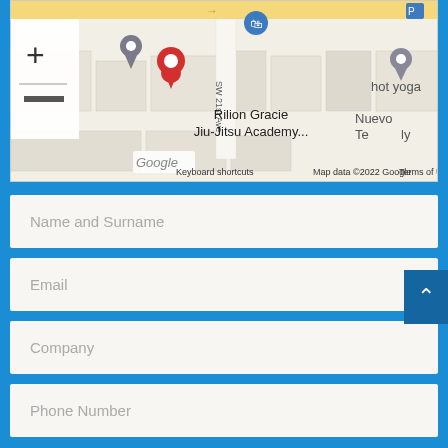[Figure (map): Google Maps screenshot showing Rilion Gracie Jiu-Jitsu Academy location marker (red pin) near SW 21st Ave, with zoom controls (+/-), a street view pegman figure, and map attribution text including 'Keyboard shortcuts', 'Map data ©2022 Google', 'Terms of Use'. Also shows partial text 'hot yoga' and 'Nuevo Te' on right side.]
Name and Surname
Email
Company
Phone Number